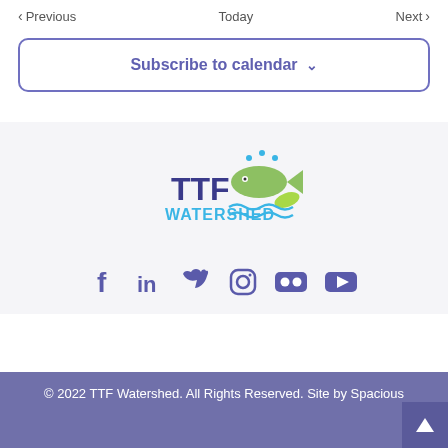< Previous   Today   Next >
Subscribe to calendar ˅
[Figure (logo): TTF Watershed logo with fish, water waves, and leaf graphic in blue and lime green]
[Figure (infographic): Social media icons: Facebook, LinkedIn, Twitter, Instagram, Flickr, YouTube]
© 2022 TTF Watershed. All Rights Reserved. Site by Spacious